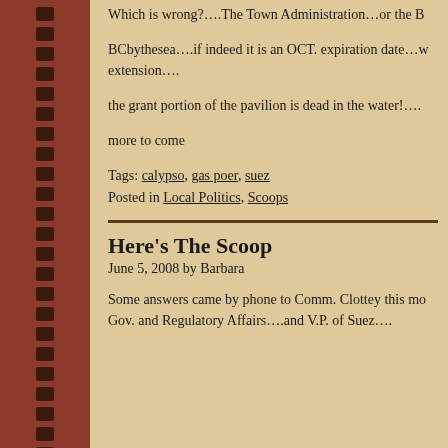Which is wrong?….The Town Administration…or the B
BCbythesea….if indeed it is an OCT. expiration date…w extension….
the grant portion of the pavilion is dead in the water!….
more to come
Tags: calypso, gas poer, suez
Posted in Local Politics, Scoops
Here's The Scoop
June 5, 2008 by Barbara
Some answers came by phone to Comm. Clottey this mo Gov. and Regulatory Affairs….and V.P. of Suez….